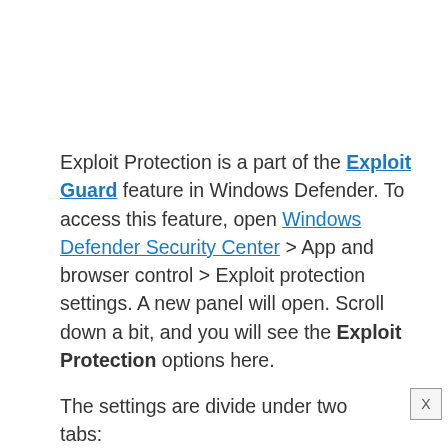Exploit Protection is a part of the Exploit Guard feature in Windows Defender. To access this feature, open Windows Defender Security Center > App and browser control > Exploit protection settings. A new panel will open. Scroll down a bit, and you will see the Exploit Protection options here.
The settings are divide under two tabs: